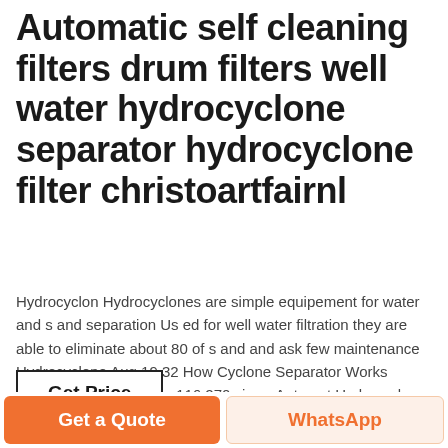Automatic self cleaning filters drum filters well water hydrocyclone separator hydrocyclone filter christoartfairnl
Hydrocyclon Hydrocyclones are simple equipement for water and sand separation Used for well water filtration they are able to eliminate about 80 of sand and ask few maintenance Hydrocyclone Aug 19 32 How Cyclone Separator Works Duration 3D knowledge 116 270 views Automat Hydrocyclone Filter Duration 125
[Figure (other): Button labeled Get Price with black border]
[Figure (photo): Strip photo showing grey gravel/rocks]
Get a Quote | WhatsApp